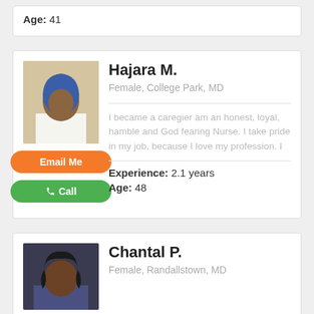Age: 41
Hajara M.
Female, College Park, MD
I became a caregier am an honest, loyal, hamble and God fearing Nurse. I take pride in my job, because I love my profession. I
Experience: 2.1 years
Age: 48
Chantal P.
Female, Randallstown, MD